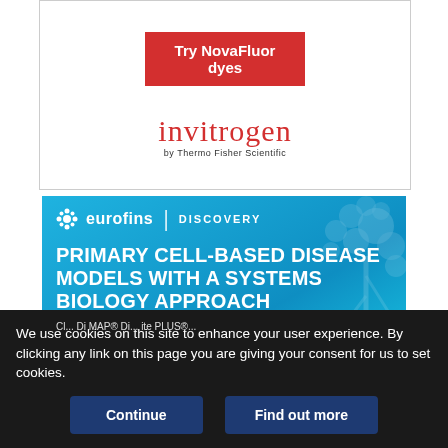[Figure (advertisement): Invitrogen by Thermo Fisher Scientific advertisement with 'Try NovaFluor dyes' red button and Invitrogen logo in red text]
[Figure (advertisement): Eurofins Discovery advertisement with blue gradient background, tree illustration, and text 'PRIMARY CELL-BASED DISEASE MODELS WITH A SYSTEMS BIOLOGY APPROACH']
We use cookies on this site to enhance your user experience. By clicking any link on this page you are giving your consent for us to set cookies.
Continue
Find out more